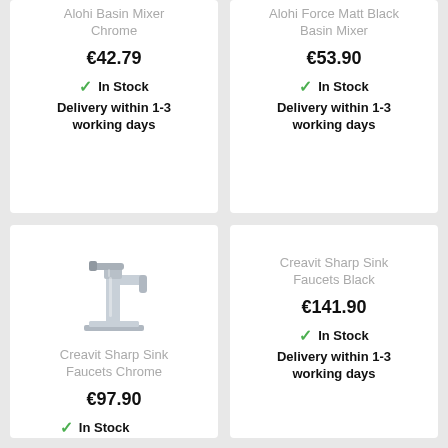Alohi Basin Mixer Chrome
€42.79
In Stock
Delivery within 1-3 working days
Alohi Force Matt Black Basin Mixer
€53.90
In Stock
Delivery within 1-3 working days
[Figure (photo): Chrome sink faucet / basin mixer tap product photo]
Creavit Sharp Sink Faucets Chrome
€97.90
In Stock
Creavit Sharp Sink Faucets Black
€141.90
In Stock
Delivery within 1-3 working days